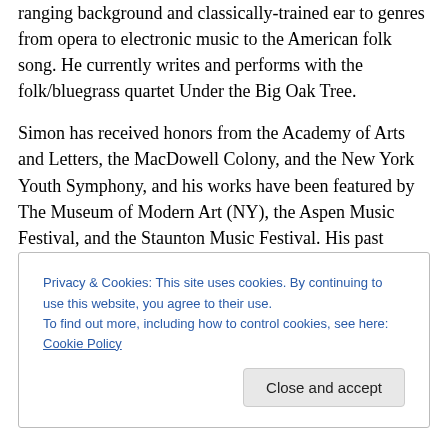ranging background and classically-trained ear to genres from opera to electronic music to the American folk song. He currently writes and performs with the folk/bluegrass quartet Under the Big Oak Tree.
Simon has received honors from the Academy of Arts and Letters, the MacDowell Colony, and the New York Youth Symphony, and his works have been featured by The Museum of Modern Art (NY), the Aspen Music Festival, and the Staunton Music Festival. His past collaborations include projects with Grammy winning musicians eighth
Privacy & Cookies: This site uses cookies. By continuing to use this website, you agree to their use.
To find out more, including how to control cookies, see here: Cookie Policy